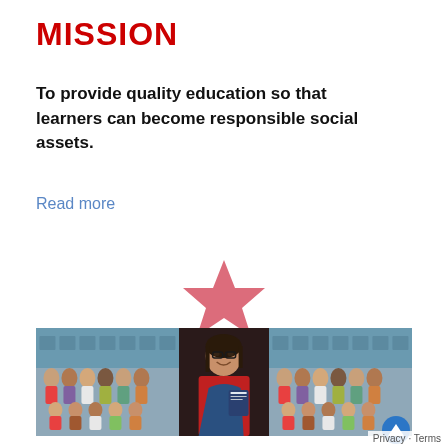MISSION
To provide quality education so that learners can become responsible social assets.
Read more
[Figure (illustration): A pink/red star icon centered on the page]
[Figure (photo): Three-panel photo strip: left and right panels show a group of teachers/staff seated and standing in front of a blue building; center panel shows a smiling woman in a red and blue sari holding a book]
Privacy · Terms